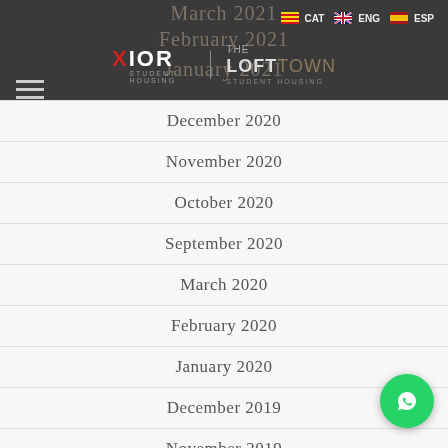Xior Student Housing | The Loft Town — Navigation with language switcher (CAT, ENG, ESP)
December 2020
November 2020
October 2020
September 2020
March 2020
February 2020
January 2020
December 2019
November 2019
October 2019